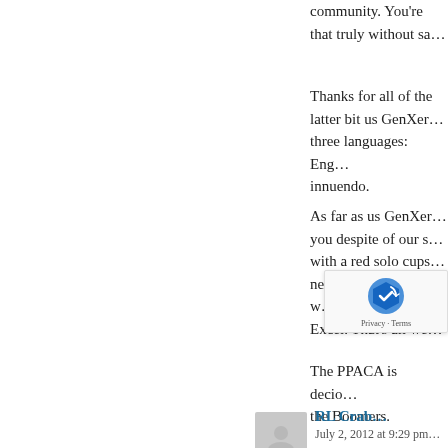community. You're … that truly without sa…
Thanks for all of the… latter bit us GenXer… three languages: Eng… innuendo.
As far as us GenXer… you despite of our s… with a red solo cups… need to make sure w… Excel. That's all we…
The PPACA is decio… the Boomers.
RL Crab…
July 2, 2012 at 9:29 pm…